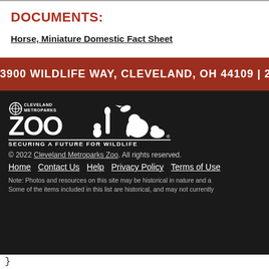DOCUMENTS:
Horse, Miniature Domestic Fact Sheet
3900 WILDLIFE WAY, CLEVELAND, OH 44109 | 21...
[Figure (logo): Cleveland Metroparks Zoo logo with animal silhouettes and tagline SECURING A FUTURE FOR WILDLIFE]
© 2022 Cleveland Metroparks Zoo. All rights reserved.
Home   Contact Us   Help   Privacy Policy   Terms of Use
Note: Photos and resources on this site may be historical in nature and a... Some of the items included in this list are historical, and may not currently...